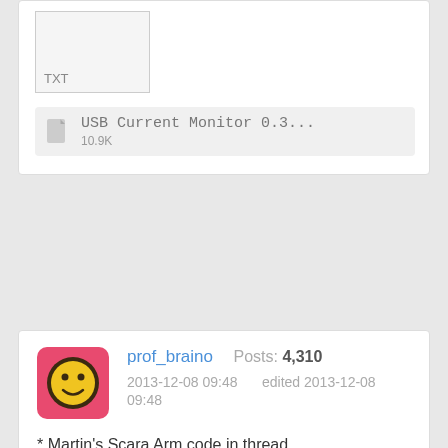[Figure (other): TXT file thumbnail placeholder box with label 'TXT']
USB Current Monitor 0.3...  10.9K
prof_braino  Posts: 4,310
2013-12-08 09:48    edited 2013-12-08 09:48
* Martin's Scara Arm code in thread
http://forums.parallax.com/showthread.php/151826-Scara-robot-using-servos-and-hardware-store-components
I mentioned Martin's comment that the forth code is slower than the C version. Sal responded:
This is a good example of the first stage of forth development. Now that the forth code is working, the code can be optimized. One example is the ASR word. In forth